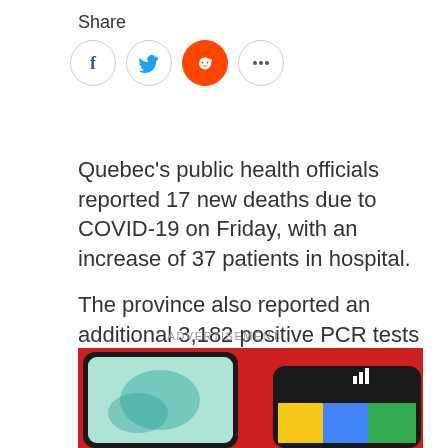Share
[Figure (other): Social sharing icons: Facebook, Twitter, Reddit, and more options (ellipsis) arranged in circular buttons]
Quebec's public health officials reported 17 new deaths due to COVID-19 on Friday, with an increase of 37 patients in hospital.
The province also reported an additional 3,182 positive PCR tests for COVID-19 from 19,713 samples, making the positivity rate 18.4 per cent.
ADVERTISEMENT
[Figure (photo): Advertisement image showing two smartphones (Samsung Galaxy and Google Pixel) against a red background]